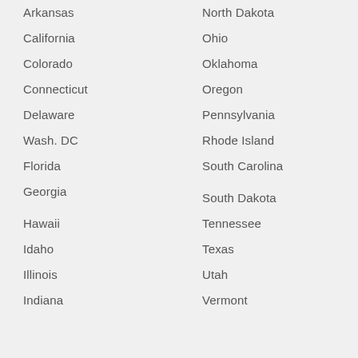Arkansas
California
Colorado
Connecticut
Delaware
Wash. DC
Florida
Georgia
Hawaii
Idaho
Illinois
Indiana
North Dakota
Ohio
Oklahoma
Oregon
Pennsylvania
Rhode Island
South Carolina
South Dakota
Tennessee
Texas
Utah
Vermont